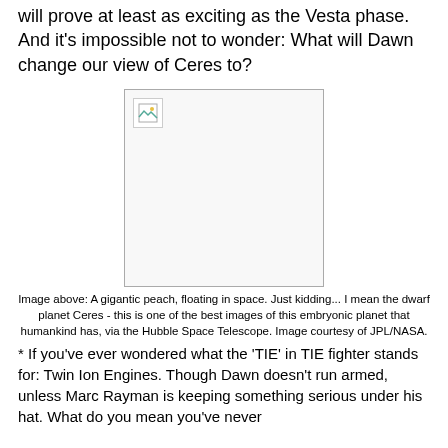will prove at least as exciting as the Vesta phase. And it's impossible not to wonder: What will Dawn change our view of Ceres to?
[Figure (photo): Broken/missing image placeholder representing a photo of the dwarf planet Ceres taken by the Hubble Space Telescope.]
Image above: A gigantic peach, floating in space. Just kidding... I mean the dwarf planet Ceres - this is one of the best images of this embryonic planet that humankind has, via the Hubble Space Telescope. Image courtesy of JPL/NASA.
* If you've ever wondered what the 'TIE' in TIE fighter stands for: Twin Ion Engines. Though Dawn doesn't run armed, unless Marc Rayman is keeping something serious under his hat. What do you mean you've never